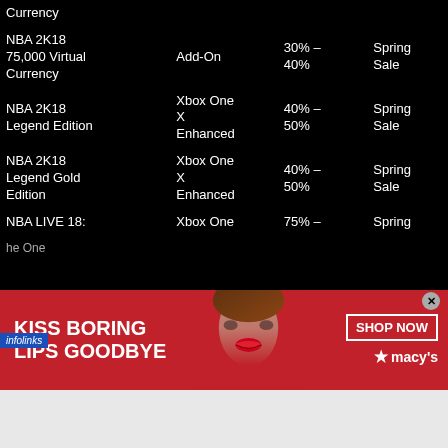| Product | Type | Discount | Sale |
| --- | --- | --- | --- |
| Currency |  |  |  |
| NBA 2K18 75,000 Virtual Currency | Add-On | 30% – 40% | Spring Sale |
| NBA 2K18 Legend Edition | Xbox One X Enhanced | 40% – 50% | Spring Sale |
| NBA 2K18 Legend Gold Edition | Xbox One X Enhanced | 40% – 50% | Spring Sale |
| NBA LIVE 18: The One | Xbox One | 75% – | Spring |
[Figure (photo): Macy's advertisement banner: 'KISS BORING LIPS GOODBYE' with a woman's face and red lips, SHOP NOW button, and Macy's star logo]